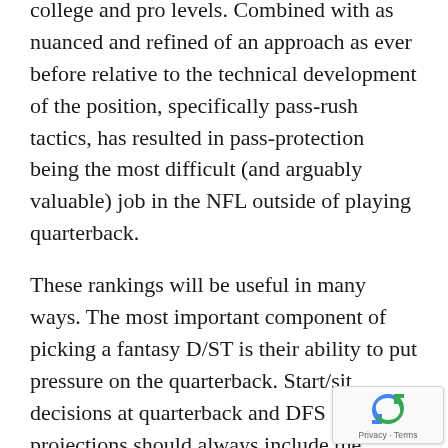college and pro levels. Combined with as nuanced and refined of an approach as ever before relative to the technical development of the position, specifically pass-rush tactics, has resulted in pass-protection being the most difficult (and arguably valuable) job in the NFL outside of playing quarterback.
These rankings will be useful in many ways. The most important component of picking a fantasy D/ST is their ability to put pressure on the quarterback. Start/sit decisions at quarterback and DFS projections should always include the opposing pass rush. In betting markets, line play has far more meaningful than the public believes.